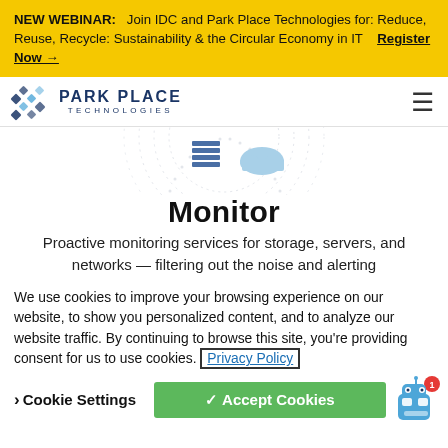NEW WEBINAR: Join IDC and Park Place Technologies for: Reduce, Reuse, Recycle: Sustainability & the Circular Economy in IT   Register Now →
[Figure (logo): Park Place Technologies logo with geometric diamond icon and text 'PARK PLACE TECHNOLOGIES']
[Figure (infographic): Partial circular dotted diagram with database stack icon and cloud icon visible at top]
Monitor
Proactive monitoring services for storage, servers, and networks — filtering out the noise and alerting
We use cookies to improve your browsing experience on our website, to show you personalized content, and to analyze our website traffic. By continuing to browse this site, you're providing consent for us to use cookies. Privacy Policy
❯ Cookie Settings   ✓ Accept Cookies